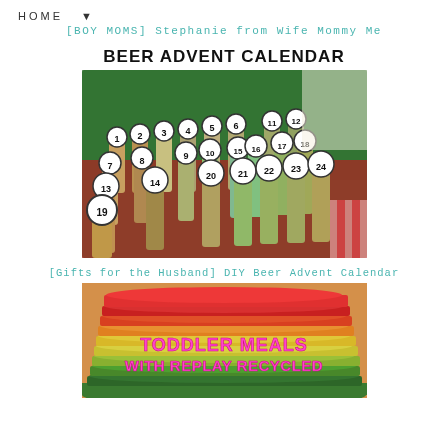HOME ▼
[BOY MOMS] Stephanie from Wife Mommy Me
Beer Advent Calendar
[Figure (photo): Photo of a DIY beer advent calendar with 24 numbered bottles arranged in rows on red filler inside a green snowflake-patterned box]
[Gifts for the Husband] DIY Beer Advent Calendar
[Figure (photo): Photo of colorful stacked plates (red, orange, yellow, green) with text overlay reading 'TODDLER MEALS WITH REPLAY RECYCLED']